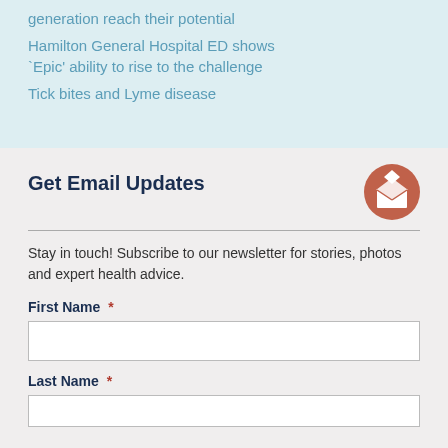generation reach their potential
Hamilton General Hospital ED shows 'Epic' ability to rise to the challenge
Tick bites and Lyme disease
Get Email Updates
Stay in touch! Subscribe to our newsletter for stories, photos and expert health advice.
First Name *
Last Name *